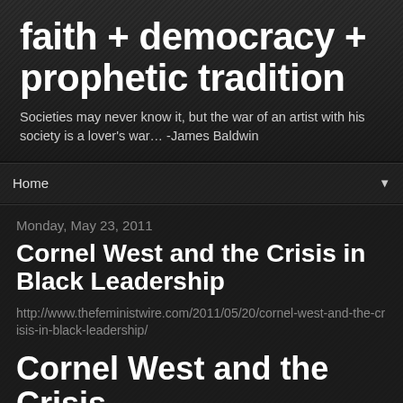faith + democracy + prophetic tradition
Societies may never know it, but the war of an artist with his society is a lover's war… -James Baldwin
Home
Monday, May 23, 2011
Cornel West and the Crisis in Black Leadership
http://www.thefeministwire.com/2011/05/20/cornel-west-and-the-crisis-in-black-leadership/
Cornel West and the Crisis in Black Leadership